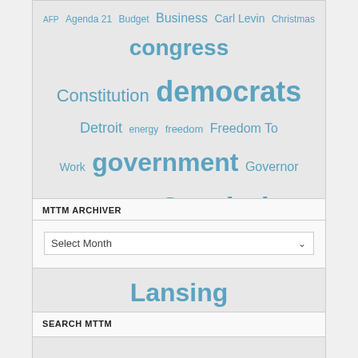AFP Agenda 21 Budget Business Carl Levin Christmas congress Constitution democrats Detroit energy freedom Freedom To Work government Governor Grand Rapids Granholm Health care Herman Cain jobs Labor Lansing Mackinac Center Michigan Mike Cox Milton Friedman Minimum Wage obama Obamacare Palin Pelosi Petoskey politics Republican Republicans Right to work Schools Senate socialism taxes tea party Traverse City UAW Unions US Senate
MTTM ARCHIVER
Select Month
SEARCH MTTM